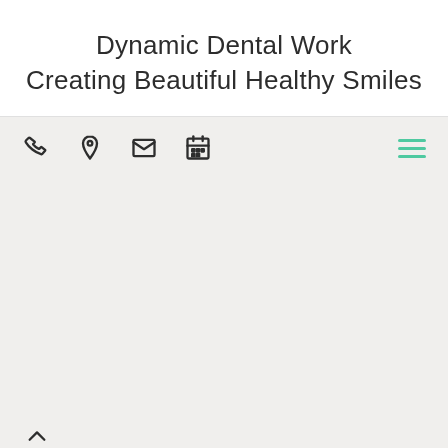Dynamic Dental Work
Creating Beautiful Healthy Smiles
[Figure (screenshot): Navigation bar with phone, location pin, email, and calendar icons on the left, and a teal hamburger menu icon on the right, on a light gray background.]